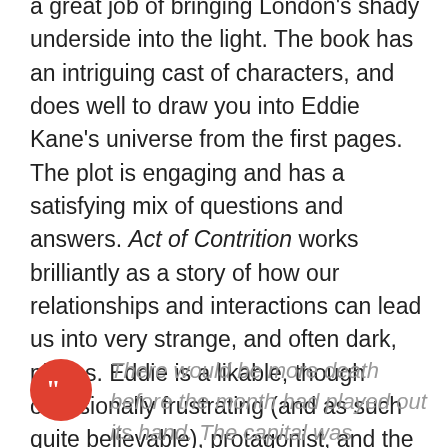a great job of bringing London's shady underside into the light. The book has an intriguing cast of characters, and does well to draw you into Eddie Kane's universe from the first pages. The plot is engaging and has a satisfying mix of questions and answers. Act of Contrition works brilliantly as a story of how our relationships and interactions can lead us into very strange, and often dark, places. Eddie is a likable, though occasionally frustrating (and as such quite believable), protagonist, and the story is thoughtfully plotted.
There would be more death before the month had played out its hand. The capital was melting, but